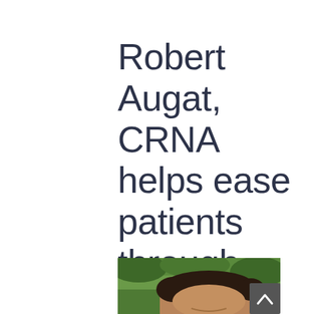Robert Augat, CRNA helps ease patients through surgery.
[Figure (photo): Partial photo of a man with dark curly hair smiling, with green foliage in the background. A dark grey scroll-up button with a caret/arrow icon is overlaid in the bottom-right corner of the photo.]